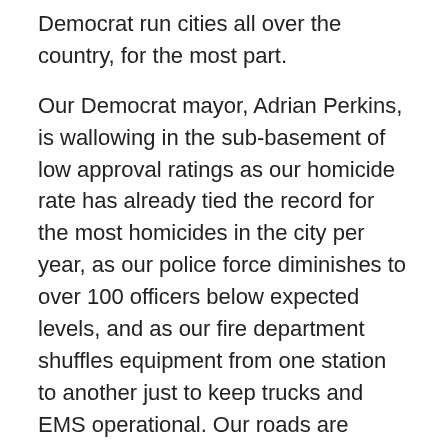Democrat run cities all over the country, for the most part.
Our Democrat mayor, Adrian Perkins, is wallowing in the sub-basement of low approval ratings as our homicide rate has already tied the record for the most homicides in the city per year, as our police force diminishes to over 100 officers below expected levels, and as our fire department shuffles equipment from one station to another just to keep trucks and EMS operational. Our roads are literally crumbling, and the last major manufacturing business, Libbey Glass, shut the doors and pulled out. We are a dying city.
December 11 was election day for a bond proposal to address a few of these issues. Among the issues on the ballot, the only one to pass was Prop 1:
Proposition 1 was the solo passing proposal, being